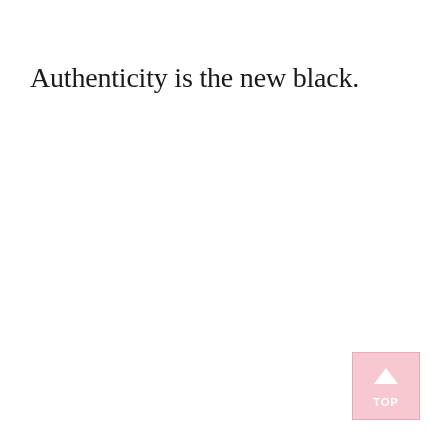Authenticity is the new black.
[Figure (other): A pink square button with a white upward chevron arrow and the text 'TOP', used as a scroll-to-top navigation element.]